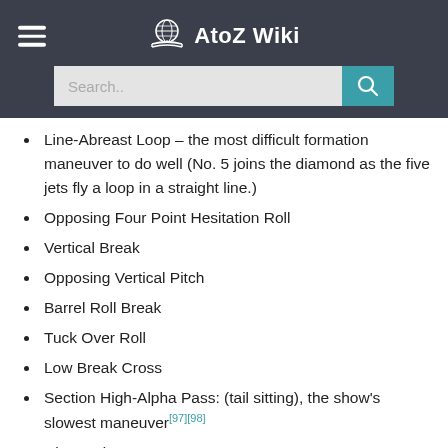AtoZ Wiki
Line-Abreast Loop – the most difficult formation maneuver to do well (No. 5 joins the diamond as the five jets fly a loop in a straight line.)
Opposing Four Point Hesitation Roll
Vertical Break
Opposing Vertical Pitch
Barrel Roll Break
Tuck Over Roll
Low Break Cross
Section High-Alpha Pass: (tail sitting), the show's slowest maneuver[97][98]
Diamond Burner 270